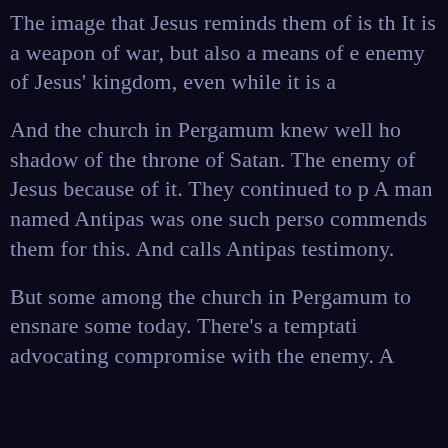The image that Jesus reminds them of is th It is a weapon of war, but also a means of e enemy of Jesus' kingdom, even while it is a
And the church in Pergamum knew well ho shadow of the throne of Satan. The enemy of Jesus because of it. They continued to p A man named Antipas was one such perso commends them for this. And calls Antipas testimony.
But some among the church in Pergamum to ensnare some today. There's a temptati advocating compromise with the enemy. A